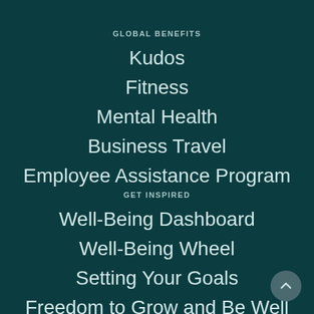GLOBAL BENEFITS
Kudos
Fitness
Mental Health
Business Travel
Employee Assistance Program
GET INSPIRED
Well-Being Dashboard
Well-Being Wheel
Setting Your Goals
Freedom to Grow and Be Well